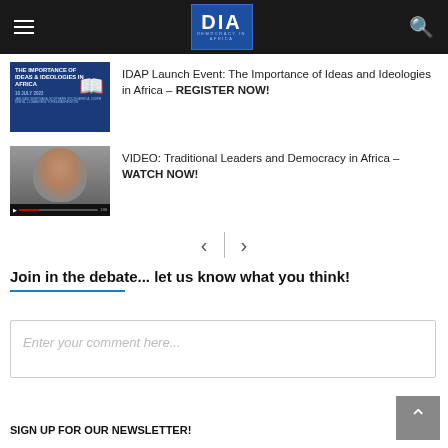DIA — Democracy in Africa
IDAP Launch Event: The Importance of Ideas and Ideologies in Africa – REGISTER NOW!
VIDEO: Traditional Leaders and Democracy in Africa – WATCH NOW!
Join in the debate... let us know what you think!
Enter your comment here...
SIGN UP FOR OUR NEWSLETTER!